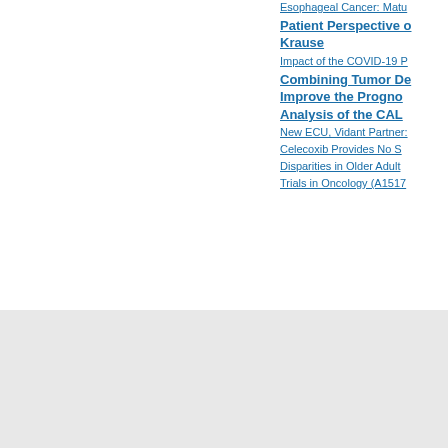Esophageal Cancer: Matu...
Patient Perspective o... Krause
Impact of the COVID-19 P...
Combining Tumor De... Improve the Prognos... Analysis of the CALC...
New ECU, Vidant Partner:
Celecoxib Provides No S...
Disparities in Older Adult...
Trials in Oncology (A1517...
disclaimer   site m...